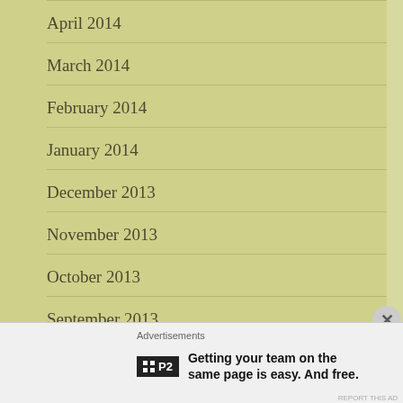April 2014
March 2014
February 2014
January 2014
December 2013
November 2013
October 2013
September 2013
Advertisements
Getting your team on the same page is easy. And free.